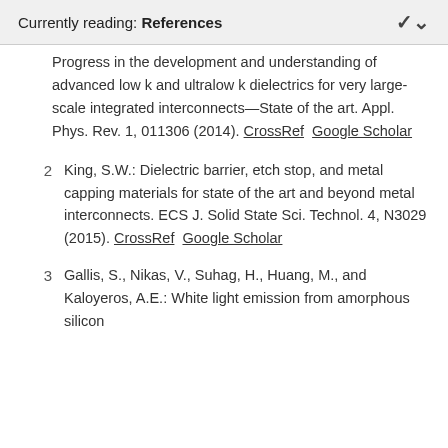Currently reading: References
Progress in the development and understanding of advanced low k and ultralow k dielectrics for very large-scale integrated interconnects—State of the art. Appl. Phys. Rev. 1, 011306 (2014). CrossRef  Google Scholar
2  King, S.W.: Dielectric barrier, etch stop, and metal capping materials for state of the art and beyond metal interconnects. ECS J. Solid State Sci. Technol. 4, N3029 (2015). CrossRef  Google Scholar
3  Gallis, S., Nikas, V., Suhag, H., Huang, M., and Kaloyeros, A.E.: White light emission from amorphous silicon